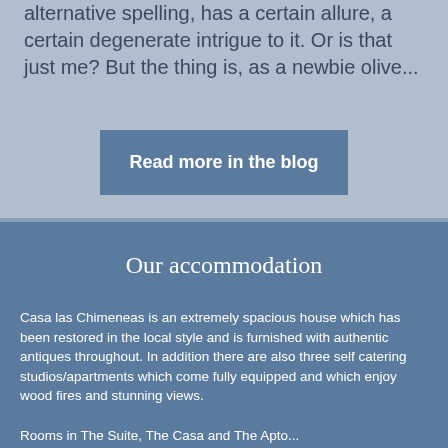alternative spelling, has a certain allure, a certain degenerate intrigue to it. Or is that just me?  But the thing is, as a newbie olive...
Read more in the blog
Our accommodation
Casa las Chimeneas is an extremely spacious house which has been restored in the local style and is furnished with authentic antiques throughout. In addition there are also three self catering studios/apartments which come fully equipped and which enjoy wood fires and stunning views.
Rooms in The Suite, The Casa and The Apto...